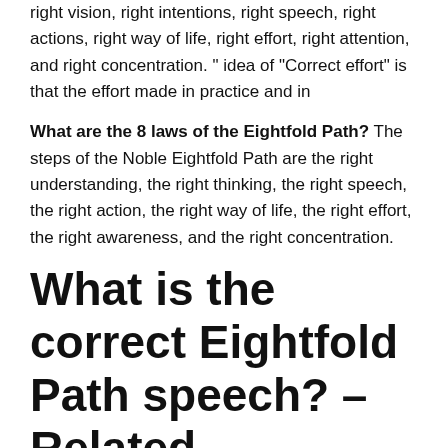right vision, right intentions, right speech, right actions, right way of life, right effort, right attention, and right concentration. ” idea of “Correct effort” is that the effort made in practice and in
What are the 8 laws of the Eightfold Path? The steps of the Noble Eightfold Path are the right understanding, the right thinking, the right speech, the right action, the right way of life, the right effort, the right awareness, and the right concentration.
What is the correct Eightfold Path speech? – Related questions
Why is correct speech